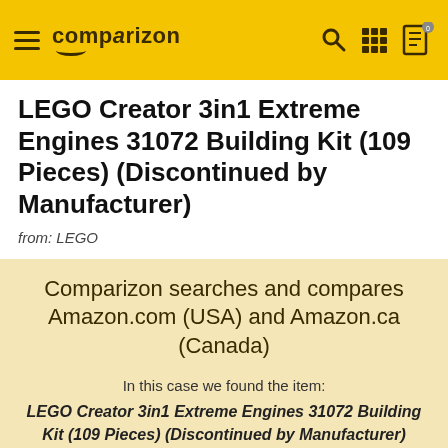comparizon
LEGO Creator 3in1 Extreme Engines 31072 Building Kit (109 Pieces) (Discontinued by Manufacturer)
from: LEGO
Comparizon searches and compares Amazon.com (USA) and Amazon.ca (Canada)
In this case we found the item: LEGO Creator 3in1 Extreme Engines 31072 Building Kit (109 Pieces) (Discontinued by Manufacturer) on both Amazon.com and Amazon.ca
Check out the Amazon Reviews and Price Comparisons